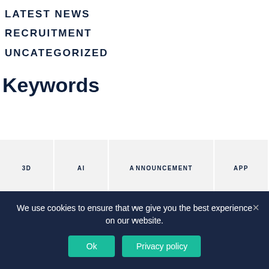LATEST NEWS
RECRUITMENT
UNCATEGORIZED
Keywords
3D AI ANNOUNCEMENT APP APPLE AR ARTIFICAL INTELLIGENCE ARTIFICIAL INTELLIGENCE AUGMENTED
We use cookies to ensure that we give you the best experience on our website.